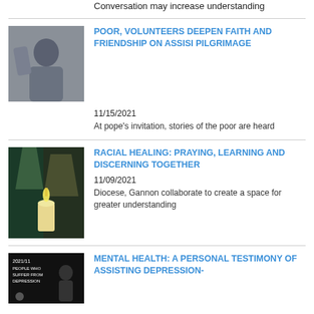Conversation may increase understanding
[Figure (photo): Man in gray hoodie leaning against wall]
POOR, VOLUNTEERS DEEPEN FAITH AND FRIENDSHIP ON ASSISI PILGRIMAGE
11/15/2021
At pope's invitation, stories of the poor are heard
[Figure (photo): Candle lit in front of stained glass window]
RACIAL HEALING: PRAYING, LEARNING AND DISCERNING TOGETHER
11/09/2021
Diocese, Gannon collaborate to create a space for greater understanding
[Figure (photo): Mental health awareness graphic with silhouette and text: 2021/11 PEOPLE WHO SUFFER FROM DEPRESSION]
MENTAL HEALTH: A PERSONAL TESTIMONY OF ASSISTING DEPRESSION-